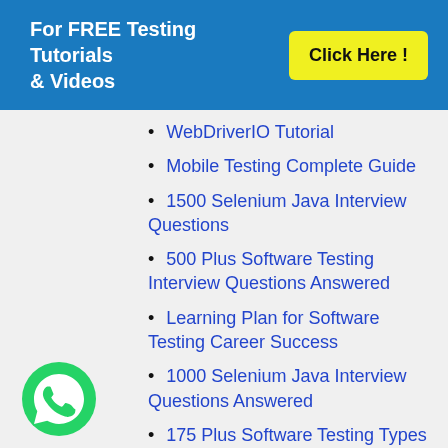For FREE Testing Tutorials & Videos | Click Here!
WebDriverIO Tutorial
Mobile Testing Complete Guide
1500 Selenium Java Interview Questions
500 Plus Software Testing Interview Questions Answered
Learning Plan for Software Testing Career Success
1000 Selenium Java Interview Questions Answered
175 Plus Software Testing Types
Freelancing Journey of a Software Tester
[Figure (logo): WhatsApp green circular button with phone icon]